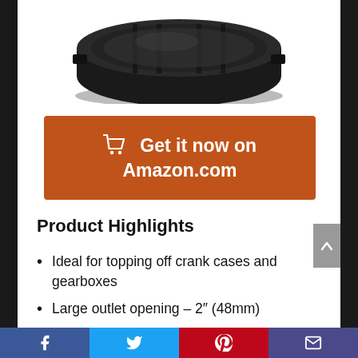[Figure (photo): Close-up photo of a black plastic oil/fluid cap for crank cases and gearboxes, viewed from above, showing ribbed grip surface.]
[Figure (infographic): Orange rectangular call-to-action button with shopping cart icon and text 'Get it now on Amazon.com' in white bold font.]
Product Highlights
Ideal for topping off crank cases and gearboxes
Large outlet opening – 2″ (48mm)
Ultra-durable construction
[Figure (infographic): Social sharing footer bar with four buttons: Facebook (blue), Twitter (light blue), Pinterest (red), Email (dark blue/purple).]